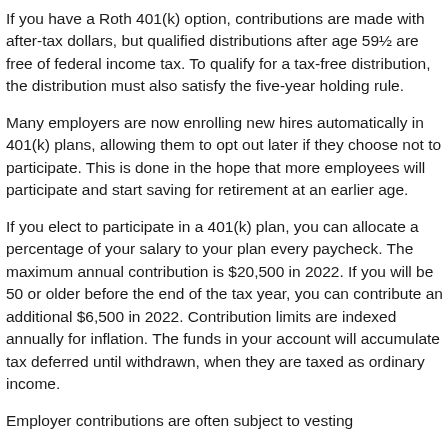If you have a Roth 401(k) option, contributions are made with after-tax dollars, but qualified distributions after age 59½ are free of federal income tax. To qualify for a tax-free distribution, the distribution must also satisfy the five-year holding rule.
Many employers are now enrolling new hires automatically in 401(k) plans, allowing them to opt out later if they choose not to participate. This is done in the hope that more employees will participate and start saving for retirement at an earlier age.
If you elect to participate in a 401(k) plan, you can allocate a percentage of your salary to your plan every paycheck. The maximum annual contribution is $20,500 in 2022. If you will be 50 or older before the end of the tax year, you can contribute an additional $6,500 in 2022. Contribution limits are indexed annually for inflation. The funds in your account will accumulate tax deferred until withdrawn, when they are taxed as ordinary income.
Employer contributions are often subject to vesting